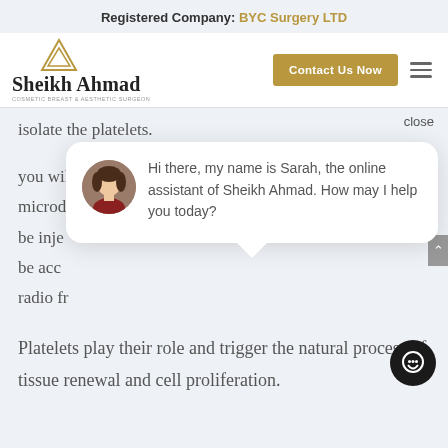Registered Company: BYC Surgery LTD
[Figure (logo): Sheikh Ahmad logo with triangle/pyramid icon and text 'Sheikh Ahmad Cosmetic Breast & Aesthetic Surgeon']
Contact Us Now
close
isolate the platelets.
Hi there, my name is Sarah, the online assistant of Sheikh Ahmad. How may I help you today?
you will
microd
be inje
be acc
radio fr
Platelets play their role and trigger the natural process of tissue renewal and cell proliferation.